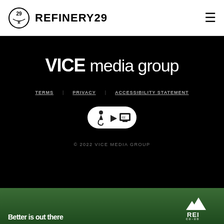REFINERY29
[Figure (logo): VICE media group logo in white text on black background]
TERMS   PRIVACY   ACCESSIBILITY STATEMENT
[Figure (illustration): Accessibility icons: wheelchair symbol, play button, and monitor/captioning symbol in a pill-shaped white container]
© 2022 VICE MEDIA GROUP
[Figure (photo): REI co-op advertisement banner with green background and mountain/tree logo, text reading 'Better is out there']